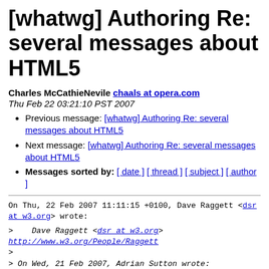[whatwg] Authoring Re: several messages about HTML5
Charles McCathieNevile chaals at opera.com
Thu Feb 22 03:21:10 PST 2007
Previous message: [whatwg] Authoring Re: several messages about HTML5
Next message: [whatwg] Authoring Re: several messages about HTML5
Messages sorted by: [ date ] [ thread ] [ subject ] [ author ]
On Thu, 22 Feb 2007 11:11:15 +0100, Dave Raggett <dsr at w3.org> wrote:
>    Dave Raggett <dsr at w3.org>
http://www.w3.org/People/Raggett
>
> On Wed, 21 Feb 2007, Adrian Sutton wrote:

...
>> I don't say that to deter you - I'm actually very